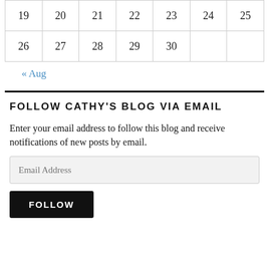| 19 | 20 | 21 | 22 | 23 | 24 | 25 |
| 26 | 27 | 28 | 29 | 30 |  |  |
« Aug
FOLLOW CATHY'S BLOG VIA EMAIL
Enter your email address to follow this blog and receive notifications of new posts by email.
Email Address
FOLLOW